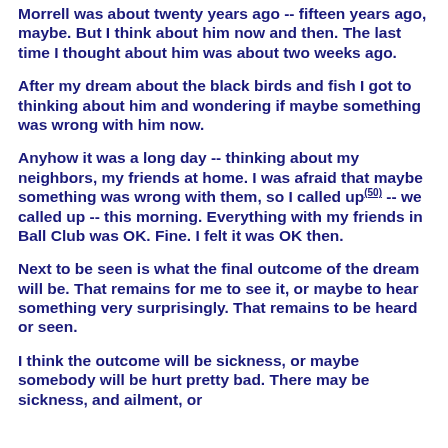Morrell was about twenty years ago -- fifteen years ago, maybe. But I think about him now and then. The last time I thought about him was about two weeks ago.
After my dream about the black birds and fish I got to thinking about him and wondering if maybe something was wrong with him now.
Anyhow it was a long day -- thinking about my neighbors, my friends at home. I was afraid that maybe something was wrong with them, so I called up(50) -- we called up -- this morning. Everything with my friends in Ball Club was OK. Fine. I felt it was OK then.
Next to be seen is what the final outcome of the dream will be. That remains for me to see it, or maybe to hear something very surprisingly. That remains to be heard or seen.
I think the outcome will be sickness, or maybe somebody will be hurt pretty bad. There may be sickness, and ailment, or